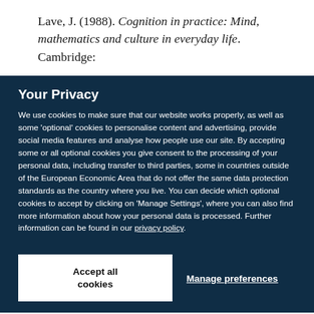Lave, J. (1988). Cognition in practice: Mind, mathematics and culture in everyday life. Cambridge:
Your Privacy
We use cookies to make sure that our website works properly, as well as some 'optional' cookies to personalise content and advertising, provide social media features and analyse how people use our site. By accepting some or all optional cookies you give consent to the processing of your personal data, including transfer to third parties, some in countries outside of the European Economic Area that do not offer the same data protection standards as the country where you live. You can decide which optional cookies to accept by clicking on 'Manage Settings', where you can also find more information about how your personal data is processed. Further information can be found in our privacy policy.
Accept all cookies
Manage preferences